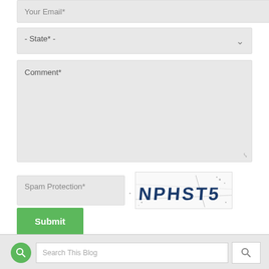Your Email*
- State* -
Comment*
[Figure (screenshot): CAPTCHA image showing distorted text 'NPHST5' with dots and lines on white background]
Spam Protection*
Submit
* Indicates a required field.
Search This Blog